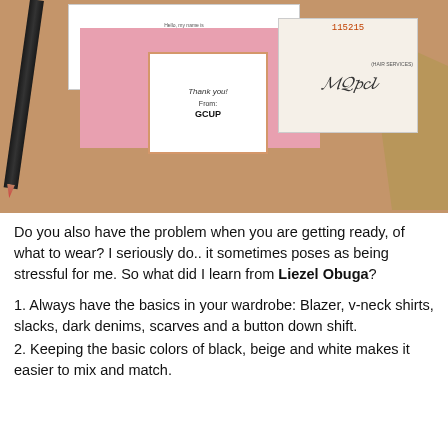[Figure (photo): A photo of a wooden table with a name badge showing 'MARIE', a pink envelope/card, a thank you card reading 'Thank you! From: GCUP', a small receipt with a number '115215' and a signature, and a black pencil.]
Do you also have the problem when you are getting ready, of what to wear? I seriously do.. it sometimes poses as being stressful for me. So what did I learn from Liezel Obuga?
1. Always have the basics in your wardrobe: Blazer, v-neck shirts, slacks, dark denims, scarves and a button down shift.
2. Keeping the basic colors of black, beige and white makes it easier to mix and match.